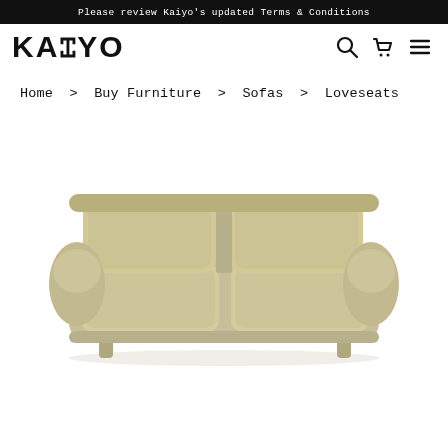Please review Kaiyo's updated Terms & Conditions
[Figure (logo): Kaiyo logo with search, cart, and menu icons in navigation bar]
Home > Buy Furniture > Sofas > Loveseats
[Figure (photo): A beige/tan loveseat sofa with rolled arms and two seat cushions, product photo on white background]